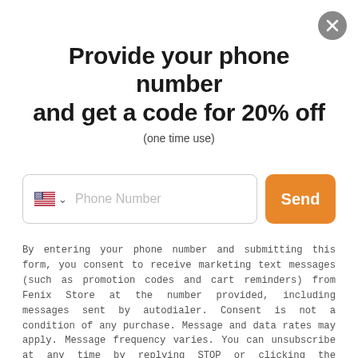[Figure (other): Close button (X) circle in top right corner]
Provide your phone number and get a code for 20% off
(one time use)
[Figure (other): Phone number input field with US flag, dropdown caret, placeholder text 'Phone Number', and orange 'Send' button]
By entering your phone number and submitting this form, you consent to receive marketing text messages (such as promotion codes and cart reminders) from Fenix Store at the number provided, including messages sent by autodialer. Consent is not a condition of any purchase. Message and data rates may apply. Message frequency varies. You can unsubscribe at any time by replying STOP or clicking the unsubscribe link (where available) in one of our messages. View our Privacy Policy and Terms of Service.